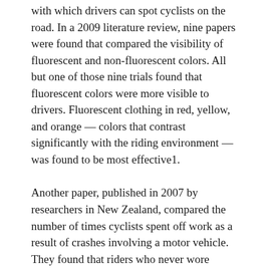with which drivers can spot cyclists on the road. In a 2009 literature review, nine papers were found that compared the visibility of fluorescent and non-fluorescent colors. All but one of those nine trials found that fluorescent colors were more visible to drivers. Fluorescent clothing in red, yellow, and orange — colors that contrast significantly with the riding environment — was found to be most effective1.
Another paper, published in 2007 by researchers in New Zealand, compared the number of times cyclists spent off work as a result of crashes involving a motor vehicle. They found that riders who never wore fluorescent cycling kit spent eight times as much time away from work as riders who always wore such clothing.
Studies like these seem to point in a clear direction: